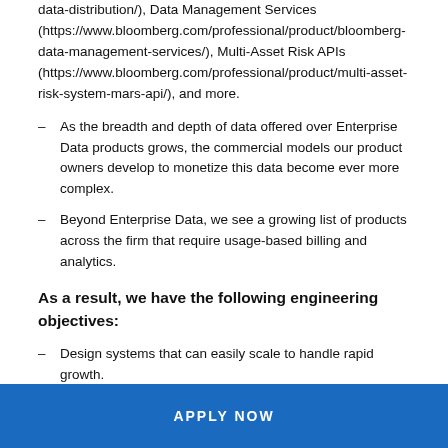data-distribution/), Data Management Services (https://www.bloomberg.com/professional/product/bloomberg-data-management-services/), Multi-Asset Risk APIs (https://www.bloomberg.com/professional/product/multi-asset-risk-system-mars-api/), and more.
As the breadth and depth of data offered over Enterprise Data products grows, the commercial models our product owners develop to monetize this data become ever more complex.
Beyond Enterprise Data, we see a growing list of products across the firm that require usage-based billing and analytics.
As a result, we have the following engineering objectives:
Design systems that can easily scale to handle rapid growth.
APPLY NOW